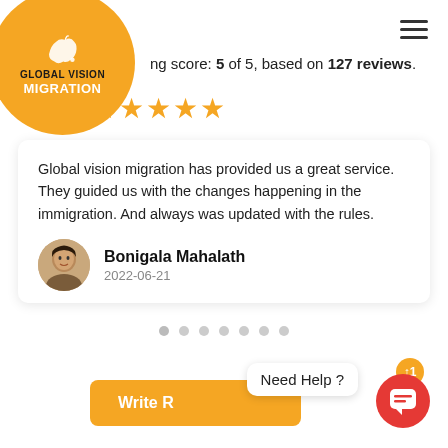[Figure (logo): Global Vision Migration orange circle logo with Australia map outline and text]
ng score: 5 of 5, based on 127 reviews.
[Figure (illustration): Five gold star rating]
Global vision migration has provided us a great service.
They guided us with the changes happening in the immigration. And always was updated with the rules.
[Figure (photo): Reviewer avatar photo of Bonigala Mahalath]
Bonigala Mahalath
2022-06-21
[Figure (infographic): Carousel navigation dots, 7 dots total]
Write R
Need Help ?
[Figure (illustration): Red chat bubble button with notification badge showing 1]